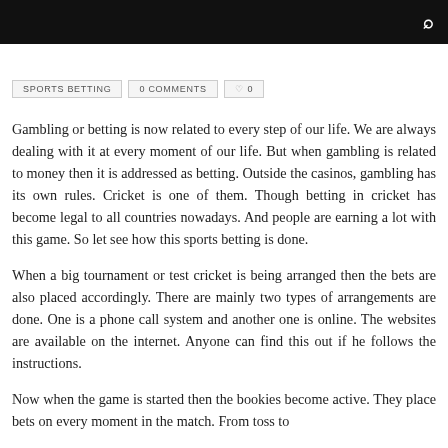🔍
SPORTS BETTING | 0 COMMENTS | ♡ 0
Gambling or betting is now related to every step of our life. We are always dealing with it at every moment of our life. But when gambling is related to money then it is addressed as betting. Outside the casinos, gambling has its own rules. Cricket is one of them. Though betting in cricket has become legal to all countries nowadays. And people are earning a lot with this game. So let see how this sports betting is done.
When a big tournament or test cricket is being arranged then the bets are also placed accordingly. There are mainly two types of arrangements are done. One is a phone call system and another one is online. The websites are available on the internet. Anyone can find this out if he follows the instructions.
Now when the game is started then the bookies become active. They place bets on every moment in the match. From toss to